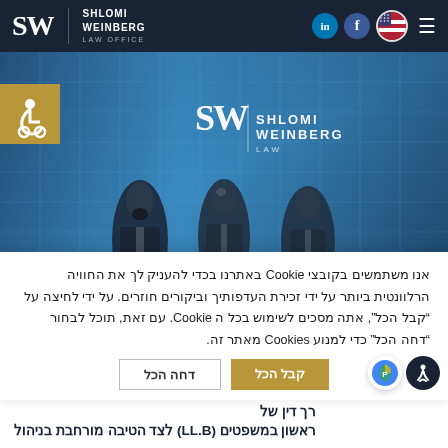SW | SHLOMI WEINBERG LAW OFFICE
[Figure (photo): Hero image showing three men in suits standing in front of a glass office building, with SW Shlomi Weinberg Law Office logo overlay and accessibility icon in top-left corner]
אנו משתמשים בקובצי Cookie באתרנו בכדי להעניק לך את החוויה הרלוונטית ביותר על ידי זכירת העדפותיך וביקורים חוזרים. על ידי לחיצה על 'קבל הכל', אתה מסכים לשימוש בכל ה Cookie. עם זאת, תוכל לבחור 'דחה הכל' כדי למנוע Cookies מאתר זה.
קבל הכל
דחה הכל
ראשון במשפטים (LL.B) לצד הטיבה מורחבת בניהול